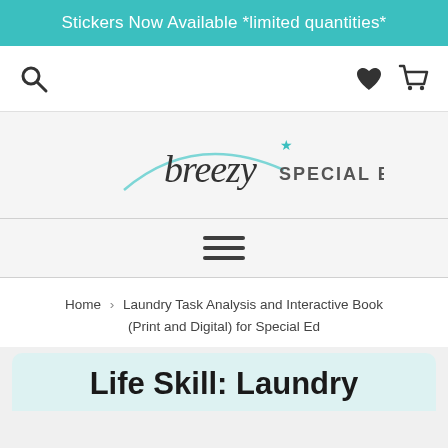Stickers Now Available *limited quantities*
[Figure (logo): Navigation bar with search icon on left, heart and cart icons on right]
[Figure (logo): Breezy Special Ed logo — cursive 'breezy' with teal arc and star, uppercase 'SPECIAL ED']
[Figure (other): Hamburger menu icon with three horizontal lines]
Home › Laundry Task Analysis and Interactive Book (Print and Digital) for Special Ed
Life Skill: Laundry